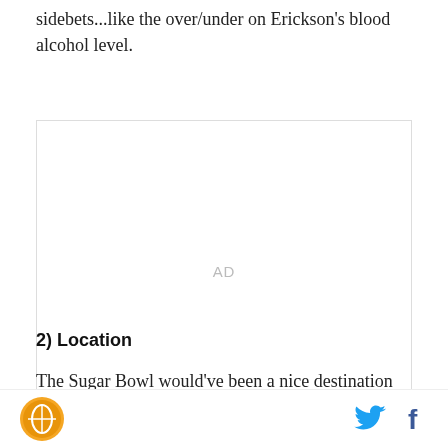sidebets...like the over/under on Erickson's blood alcohol level.
[Figure (other): Advertisement placeholder box with 'AD' label]
2) Location
The Sugar Bowl would've been a nice destination for the Beavers...let into New Orleans...